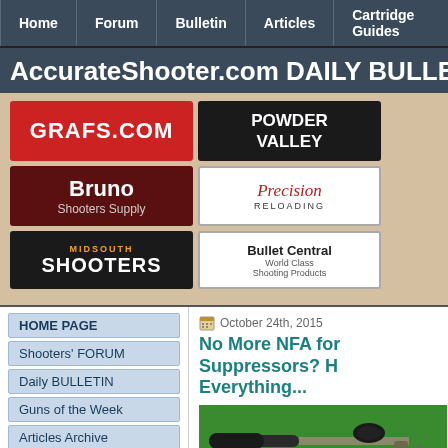Home | Forum | Bulletin | Articles | Cartridge Guides
AccurateShooter.com DAILY BULLET
[Figure (infographic): Sponsor logos: GRAFS.COM, POWDER VALLEY, Bruno Shooters Supply, Precision Reloading, MIDSOUTH SHOOTERS, Bullet Central World Class Shooting Products]
HOME PAGE
Shooters' FORUM
Daily BULLETIN
Guns of the Week
Articles Archive
BLOG Archive
Competition Info
Varmint Pages
6BR Info Page
6BR Improved
17 CAL Info Page
October 24th, 2015
No More NFA for Suppressors? H Everything...
[Figure (photo): Photo of a rifle with suppressor/silencer attached, resting on bipod on green grass]